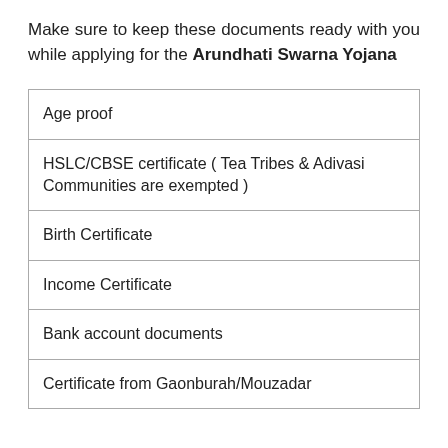Make sure to keep these documents ready with you while applying for the Arundhati Swarna Yojana
| Age proof |
| HSLC/CBSE certificate ( Tea Tribes & Adivasi Communities are exempted ) |
| Birth Certificate |
| Income Certificate |
| Bank account documents |
| Certificate from Gaonburah/Mouzadar |